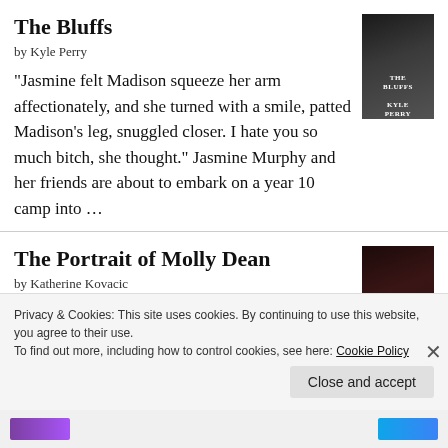The Bluffs
by Kyle Perry
“Jasmine felt Madison squeeze her arm affectionately, and she turned with a smile, patted Madison’s leg, snuggled closer. I hate you so much bitch, she thought.” Jasmine Murphy and her friends are about to embark on a year 10 camp into …
The Portrait of Molly Dean
by Katherine Kovacic
“But now as thoughts of murder and missing files chase each other around my head, I realise
Privacy & Cookies: This site uses cookies. By continuing to use this website, you agree to their use.
To find out more, including how to control cookies, see here: Cookie Policy
Close and accept